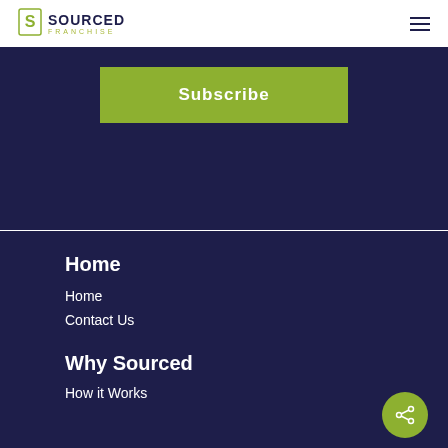SOURCED FRANCHISE
Subscribe
Home
Home
Contact Us
Why Sourced
How it Works